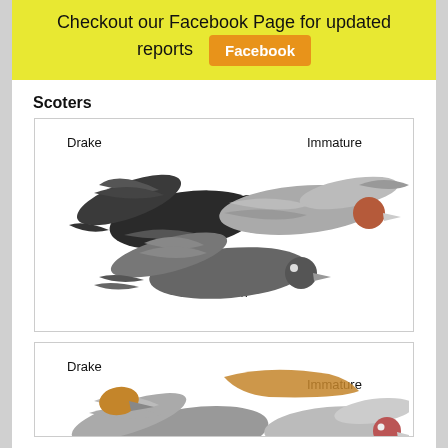Checkout our Facebook Page for updated reports  [Facebook]
Scoters
[Figure (illustration): Black and white illustration of Scoter ducks in flight. Three birds shown: Drake (top left label), Immature (top right label), and Hen (bottom center label). Birds depicted flying left to right with detailed feather rendering.]
[Figure (illustration): Black and white illustration of Scoter ducks in flight. Drake (left label) and Immature (right label). Partial view of second species group, birds shown mid-flight with detailed feather rendering.]